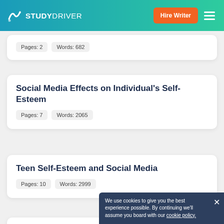STUDYDRIVER | Hire Writer
Pages: 2    Words: 682
Social Media Effects on Individual's Self-Esteem
Pages: 7    Words: 2065
Teen Self-Esteem and Social Media
Pages: 10    Words: 2999
Social Media and its Effects
We use cookies to give you the best experience possible. By continuing we'll assume you board with our cookie policy.